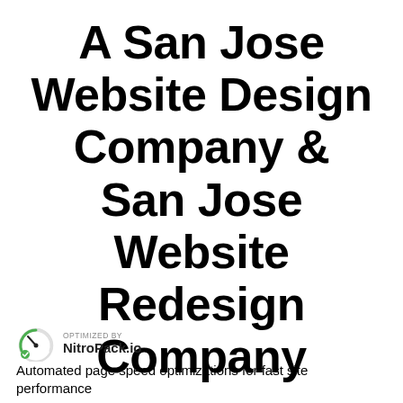A San Jose Website Design Company & San Jose Website Redesign Company
[Figure (logo): NitroPack.io logo with speedometer icon and text 'OPTIMIZED BY NitroPack.io']
Automated page speed optimizations for fast site performance